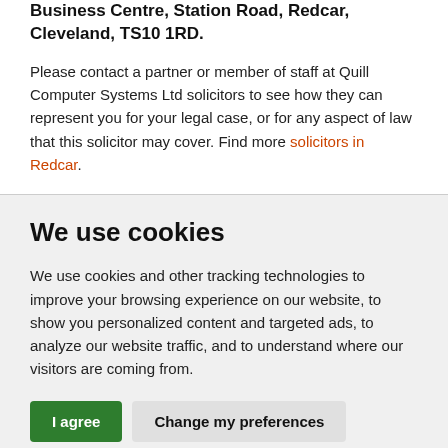Business Centre, Station Road, Redcar, Cleveland, TS10 1RD.
Please contact a partner or member of staff at Quill Computer Systems Ltd solicitors to see how they can represent you for your legal case, or for any aspect of law that this solicitor may cover. Find more solicitors in Redcar.
We use cookies
We use cookies and other tracking technologies to improve your browsing experience on our website, to show you personalized content and targeted ads, to analyze our website traffic, and to understand where our visitors are coming from.